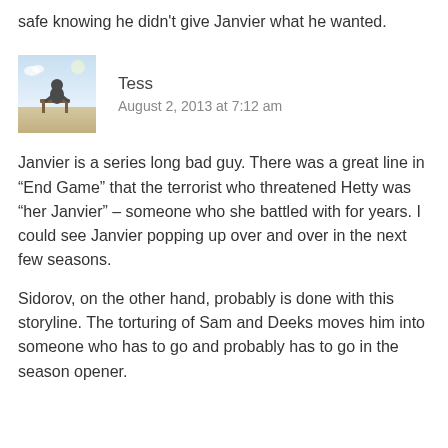safe knowing he didn't give Janvier what he wanted.
[Figure (photo): Small avatar image showing a person sitting at a desk outdoors, sandy/beach-like setting, blue-toned illustration style]
Tess
August 2, 2013 at 7:12 am
Janvier is a series long bad guy. There was a great line in “End Game” that the terrorist who threatened Hetty was “her Janvier” – someone who she battled with for years. I could see Janvier popping up over and over in the next few seasons.
Sidorov, on the other hand, probably is done with this storyline. The torturing of Sam and Deeks moves him into someone who has to go and probably has to go in the season opener.